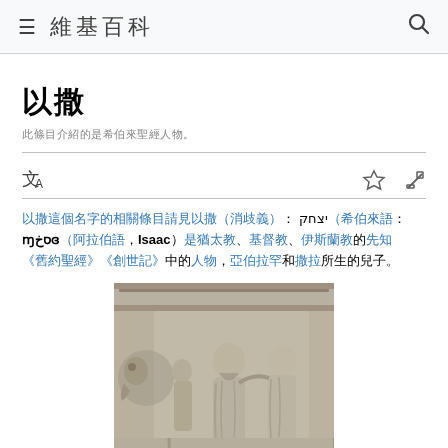≡ 維基百科 🔍
以撒
此條目介紹的是希伯來聖經人物。
以撒（希伯來語：יצחק‎；阿拉伯語：إسخاق‎，Isaac）是《希伯來聖經》中的一個人物，也是《創世記》中的一個人物。以撒是猶太人的始祖亞伯拉罕和撒拉所生的兒子。
[Figure (photo): Stone relief sculpture showing Abraham and Isaac biblical scene with multiple figures in robes]